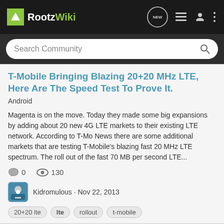RootzWiki
T-Mobile Bringing Blazing 20+20 MHz LTE, Here Are The Speed Test To Prove It.
Android
Magenta is on the move. Today they made some big expansions by adding about 20 new 4G LTE markets to their existing LTE network. According to T-Mo News there are some additional markets that are testing T-Mobile's blazing fast 20 MHz LTE spectrum. The roll out of the fast 70 MB per second LTE...
0  130
Kidromulous · Nov 22, 2013
20+20 lte
lte
rollout
t-mobile